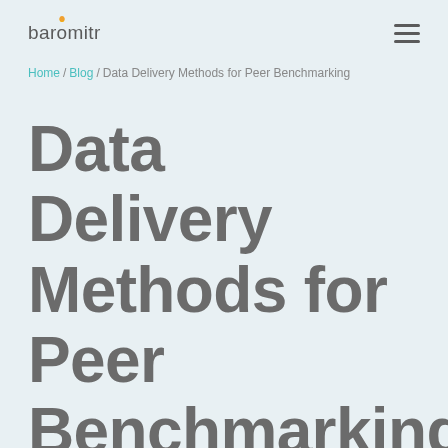baromitr
Home / Blog / Data Delivery Methods for Peer Benchmarking
Data Delivery Methods for Peer Benchmarking